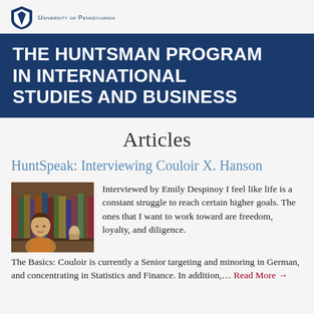University of Pennsylvania
THE HUNTSMAN PROGRAM IN INTERNATIONAL STUDIES AND BUSINESS
Articles
HuntSpeak: Interviewing Couloir X. Hanson
[Figure (photo): Portrait photo of a young woman sitting in front of bookshelves with a decorative statue]
Interviewed by Emily Despinoy I feel like life is a constant struggle to reach certain higher goals. The ones that I want to work toward are freedom, loyalty, and diligence. The Basics: Couloir is currently a Senior targeting and minoring in German, and concentrating in Statistics and Finance. In addition,… Read More →